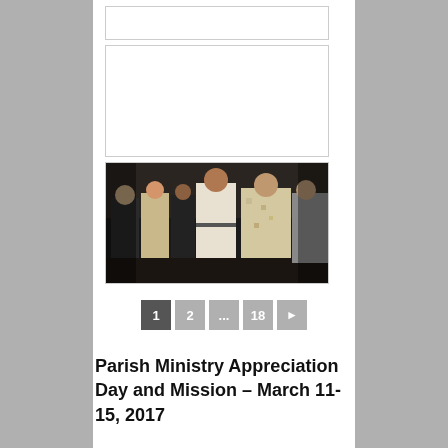[Figure (photo): Small blank placeholder image box (top)]
[Figure (photo): Medium blank placeholder image box (middle)]
[Figure (photo): Dark photograph showing a group of people including clergy/ministers standing together indoors]
1 2 ... 18 ►
Parish Ministry Appreciation Day and Mission – March 11-15, 2017